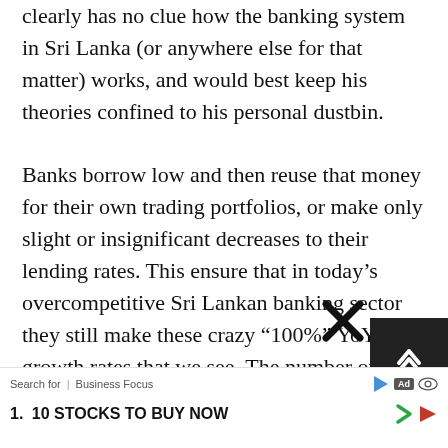clearly has no clue how the banking system in Sri Lanka (or anywhere else for that matter) works, and would best keep his theories confined to his personal dustbin. Banks borrow low and then reuse that money for their own trading portfolios, or make only slight or insignificant decreases to their lending rates. This ensure that in today's overcompetitive Sri Lankan banking sector they still make these crazy “100%” YoY growth rates that we see. The number of people borrowing is not increasing, only the cost at which they are borrowing. In addition, we saw how beautifully reducing rates squeezed the margins of banks in the USA,
Search for  |  Business Focus
1.  10 STOCKS TO BUY NOW